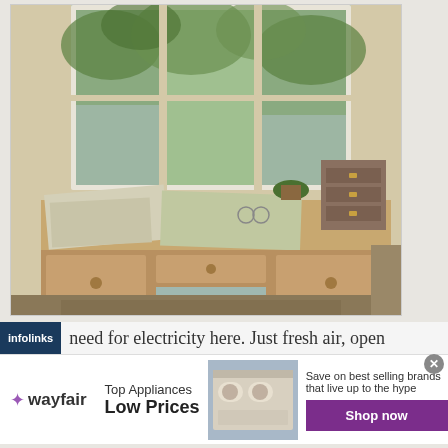[Figure (photo): A wooden desk with multiple drawers in front of a window with green trees outside. On the desk are papers, folders, a plant, a small chest of drawers, glasses, and various objects.]
infolinks  need for electricity here. Just fresh air, open
[Figure (infographic): Wayfair advertisement banner. Shows Wayfair logo, 'Top Appliances Low Prices' text, image of a stove/range appliance, and 'Save on best selling brands that live up to the hype' with a purple 'Shop now' button. Has an X close button.]